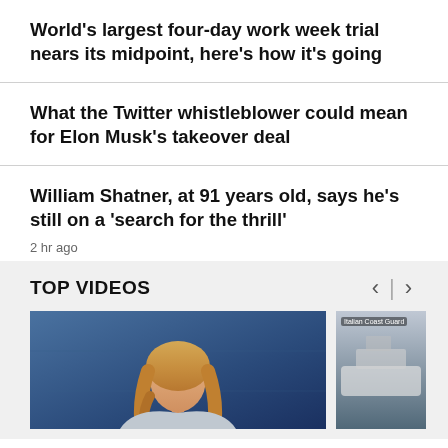World's largest four-day work week trial nears its midpoint, here's how it's going
What the Twitter whistleblower could mean for Elon Musk's takeover deal
William Shatner, at 91 years old, says he's still on a 'search for the thrill'
2 hr ago
TOP VIDEOS
[Figure (photo): Thumbnail of a blonde woman in front of a blue background, and a partial second thumbnail showing an Italian Coast Guard vessel]
Italian Coast Guard (partial label on second thumbnail)